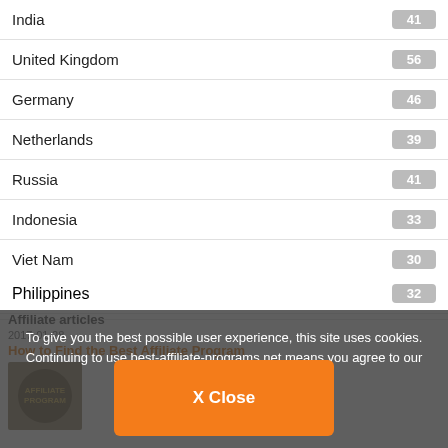India 41
United Kingdom 56
Germany 46
Netherlands 39
Russia 41
Indonesia 33
Viet Nam 30
Malaysia 32
Philippines 32
To give you the best possible user experience, this site uses cookies. Continuing to use best-affiliate-programs.net means you agree to our use of cookies.
Affiliate articles
2017-01-28
How to Find the Best Affiliate Program
the best affiliate difference in the g traffic to your website. Promoting ideal products/ services that match